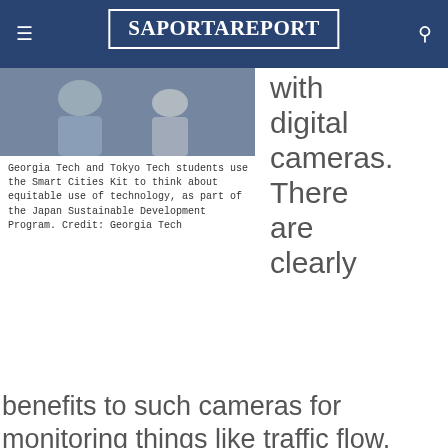SaportaReport
[Figure (photo): Georgia Tech and Tokyo Tech students use the Smart Cities Kit]
Georgia Tech and Tokyo Tech students use the Smart Cities Kit to think about equitable use of technology, as part of the Japan Sustainable Development Program. Credit: Georgia Tech
with digital cameras. There are clearly benefits to such cameras for monitoring things like traffic flow. They also raise serious privacy questions. It is not clear whether everyone will be
Related Stories
[Figure (photo): Thumbnail image for related story about Delta and Georgia Tech climate event]
Delta, Georgia Tech leaders, discusses climate solutions for businesses at Atlanta Press Club event